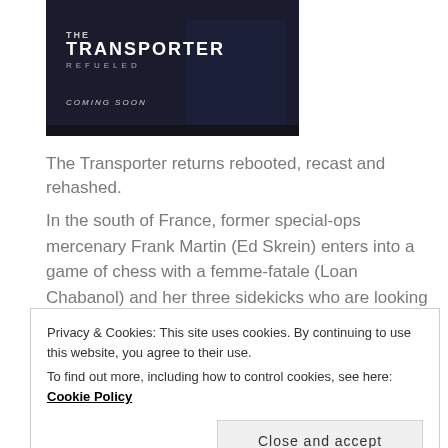[Figure (photo): Movie poster for 'The Transporter Refueled' showing title text and 'COMING SOON' on dark background]
The Transporter returns rebooted, recast and rehashed.
In the south of France, former special-ops mercenary Frank Martin (Ed Skrein) enters into a game of chess with a femme-fatale (Loan Chabanol) and her three sidekicks who are looking for revenge against a sinister Russian kingpin (Radivoje Bukvic).
I can remember watching the first Transporter. It was
Privacy & Cookies: This site uses cookies. By continuing to use this website, you agree to their use.
To find out more, including how to control cookies, see here: Cookie Policy
Close and accept
was until I saw this.